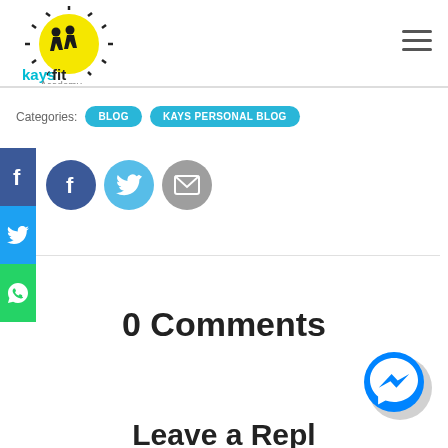[Figure (logo): Kaysfit Academy logo with runners silhouette on yellow sun, black burst rays, text 'kaysfit' in cyan and 'Academy' in gray below]
[Figure (other): Hamburger menu icon (three horizontal lines) in top right corner]
Categories:  BLOG  KAYS PERSONAL BLOG
[Figure (other): Social media sidebar: Facebook (dark blue), Twitter (light blue), WhatsApp (green) vertical strip on left edge]
[Figure (other): Three circular share buttons: dark blue Facebook 'f', light blue Twitter bird, gray email envelope]
0 Comments
[Figure (other): Facebook Messenger chat bubble icon (blue circle with white lightning bolt messenger logo) in bottom right]
Leave a Repl